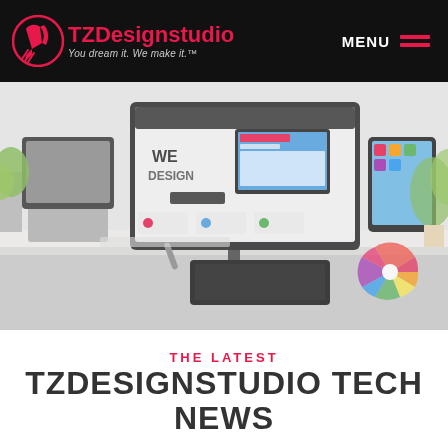TZDesignstudio — You dream it. We make it.™ | MENU
[Figure (photo): A design studio desk with a large monitor displaying a 'WE DESIGN' website mockup, alongside a tablet, phone, color wheel, graphics tablet, and plants in a bright white workspace.]
THE LATEST
TZDESIGNSTUDIO TECH NEWS